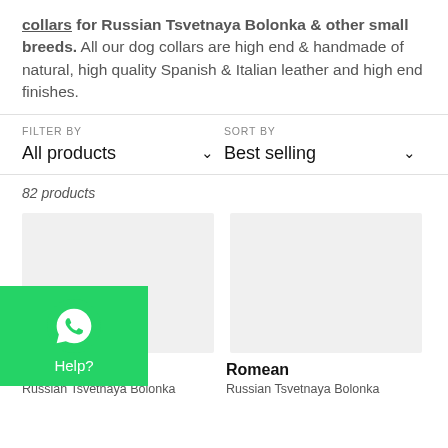collars for Russian Tsvetnaya Bolonka & other small breeds. All our dog collars are high end & handmade of natural, high quality Spanish & Italian leather and high end finishes.
FILTER BY: All products | SORT BY: Best selling
82 products
[Figure (screenshot): Product card placeholder image (light gray rectangle) for product 'peratrice', Russian Tsvetnaya Bolonka]
peratrice
Russian Tsvetnaya Bolonka
[Figure (screenshot): Product card placeholder image (light gray rectangle) for product 'Romean', Russian Tsvetnaya Bolonka]
Romean
Russian Tsvetnaya Bolonka
[Figure (other): WhatsApp chat button widget showing WhatsApp logo icon and 'Help?' text on green background, positioned bottom-left]